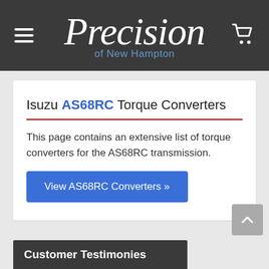Precision of New Hampton
Isuzu AS68RC Torque Converters
This page contains an extensive list of torque converters for the AS68RC transmission.
View AS68RC Converters »
Customer Testimonies